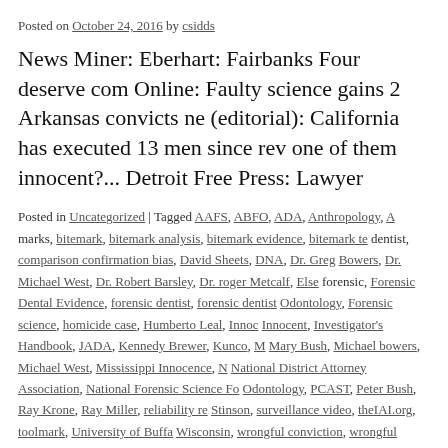Posted on October 24, 2016 by csidds
News Miner: Eberhart: Fairbanks Four deserve com Online: Faulty science gains 2 Arkansas convicts ne (editorial): California has executed 13 men since rev one of them innocent?... Detroit Free Press: Lawyer
Posted in Uncategorized | Tagged AAFS, ABFO, ADA, Anthropology, A marks, bitemark, bitemark analysis, bitemark evidence, bitemark te dentist, comparison confirmation bias, David Sheets, DNA, Dr. Greg Bowers, Dr. Michael West, Dr. Robert Barsley, Dr. roger Metcalf, Else forensic, Forensic Dental Evidence, forensic dentist, forensic dentist Odontology, Forensic science, homicide case, Humberto Leal, Innoc Innocent, Investigator's Handbook, JADA, Kennedy Brewer, Kunco, M Mary Bush, Michael bowers, Michael West, Mississippi Innocence, N National District Attorney Association, National Forensic Science Fo Odontology, PCAST, Peter Bush, Ray Krone, Ray Miller, reliability re Stinson, surveillance video, theIAI.org, toolmark, University of Buff Wisconsin, wrongful conviction, wrongful convictions, wrongfully co
Forensics and Criminal Law Potpourri – So innocence, arson, arson $$...